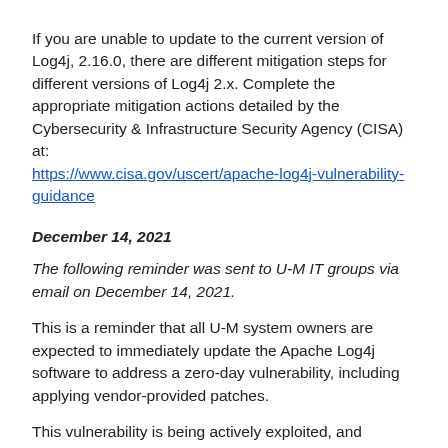If you are unable to update to the current version of Log4j, 2.16.0, there are different mitigation steps for different versions of Log4j 2.x. Complete the appropriate mitigation actions detailed by the Cybersecurity & Infrastructure Security Agency (CISA) at: https://www.cisa.gov/uscert/apache-log4j-vulnerability-guidance
December 14, 2021
The following reminder was sent to U-M IT groups via email on December 14, 2021.
This is a reminder that all U-M system owners are expected to immediately update the Apache Log4j software to address a zero-day vulnerability, including applying vendor-provided patches.
This vulnerability is being actively exploited, and